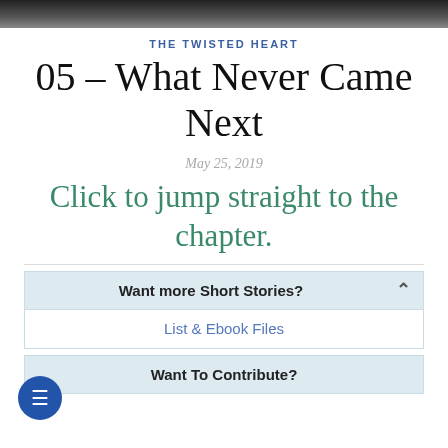[Figure (photo): Dark banner image at the top of the page]
THE TWISTED HEART
05 – What Never Came Next
May 25, 2019
Click to jump straight to the chapter.
Want more Short Stories?
List & Ebook Files
Want To Contribute?